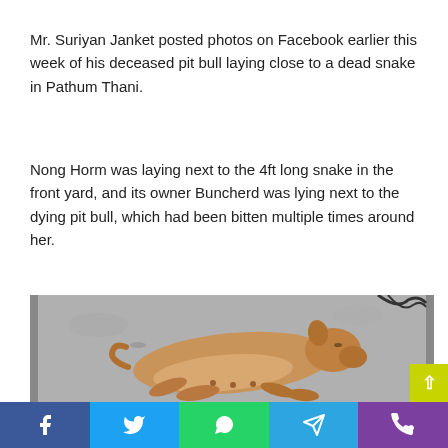Mr. Suriyan Janket posted photos on Facebook earlier this week of his deceased pit bull laying close to a dead snake in Pathum Thani.
Nong Horm was laying next to the 4ft long snake in the front yard, and its owner Buncherd was lying next to the dying pit bull, which had been bitten multiple times around her.
[Figure (photo): A deceased tan/brown pit bull dog lying on its side on a concrete surface.]